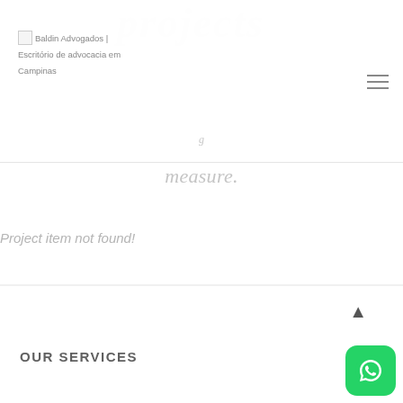[Figure (logo): Baldin Advogados | Escritório de advocacia em Campinas logo placeholder image with alt text]
projects
measure.
Project item not found!
OUR SERVICES
[Figure (other): WhatsApp floating action button icon (green rounded square with phone handset icon)]